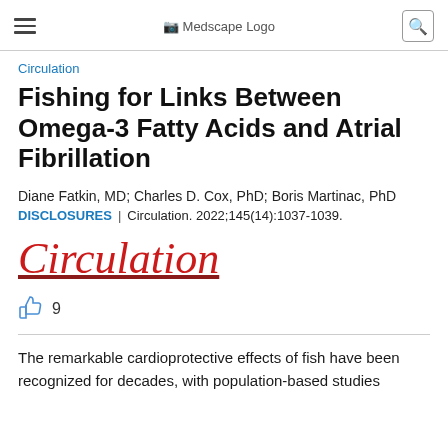Medscape Logo
Circulation
Fishing for Links Between Omega-3 Fatty Acids and Atrial Fibrillation
Diane Fatkin, MD; Charles D. Cox, PhD; Boris Martinac, PhD
DISCLOSURES | Circulation. 2022;145(14):1037-1039.
[Figure (logo): Circulation journal logo in red italic serif font with underline]
9
The remarkable cardioprotective effects of fish have been recognized for decades, with population-based studies